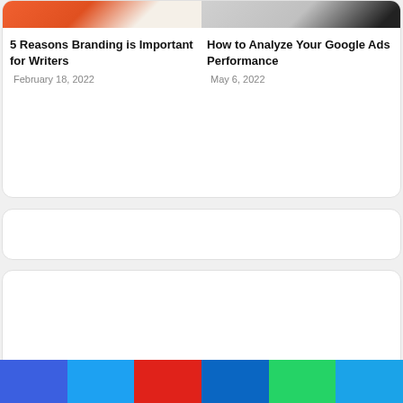[Figure (screenshot): Top card showing two blog post previews with images and titles. Left: orange/red branded item image. Right: dark sneaker/shoe image.]
5 Reasons Branding is Important for Writers
February 18, 2022
How to Analyze Your Google Ads Performance
May 6, 2022
[Figure (screenshot): Empty white rounded card (middle), possibly a loading widget or blank content block.]
[Figure (screenshot): Empty white rounded card (bottom), possibly a loading widget or blank content block.]
[Figure (infographic): Social share button bar at bottom with colored buttons: Facebook (blue), Twitter (light blue), Pinterest (red), LinkedIn (blue), WhatsApp (green), and another blue button.]